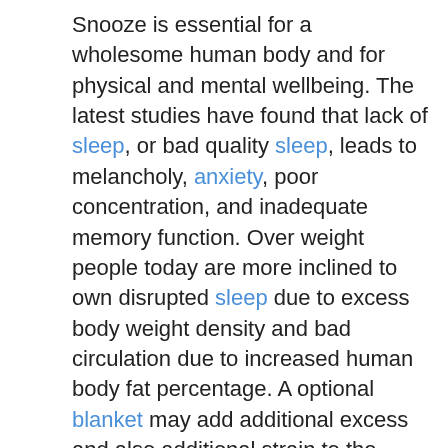Snooze is essential for a wholesome human body and for physical and mental wellbeing. The latest studies have found that lack of sleep, or bad quality sleep, leads to melancholy, anxiety, poor concentration, and inadequate memory function. Over weight people today are more inclined to own disrupted sleep due to excess body weight density and bad circulation due to increased human body fat percentage. A optional blanket may add additional excess and also additional strain to the spine. Weighted bed sheets may contribute to additional stress on the spine and might also subscribe to additional health problems such as back pain, bad posture, and pain from different regions of your whole body.